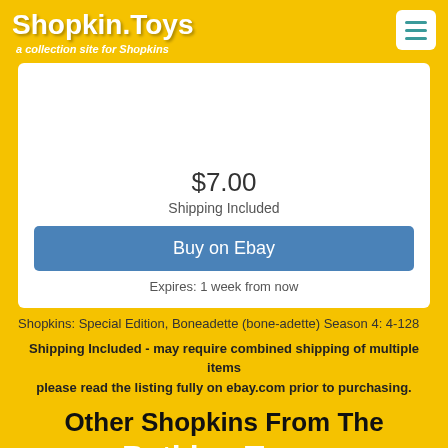Shopkin.Toys — a collection site for Shopkins
$7.00
Shipping Included
Buy on Ebay
Expires: 1 week from now
Shopkins: Special Edition, Boneadette (bone-adette) Season 4: 4-128
Shipping Included - may require combined shipping of multiple items please read the listing fully on ebay.com prior to purchasing.
Other Shopkins From The Petkins Team